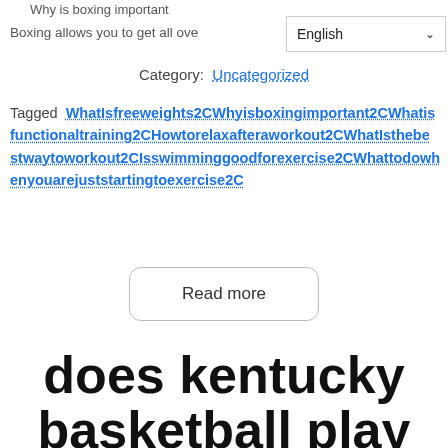Why is boxing important
Boxing allows you to get all ove
Category: Uncategorized
Tagged WhatIsfreeweights2CWhyisboxingimportant2CWhatIsfunctionaltraining2CHowtorelaxafteraworkout2CWhatIsthebestwaytoworkout2CIsswimminggoodforexercise2CWhattodowhen youarejuststartingtoexercise2C
Read more
does kentucky basketball play